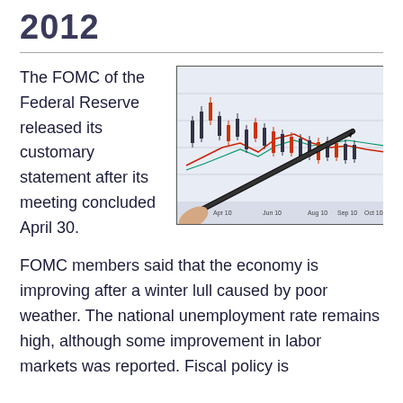2012
The FOMC of the Federal Reserve released its customary statement after its meeting concluded April 30.
[Figure (photo): A hand holding a pen pointing at a financial stock chart with candlestick patterns, moving averages, and trend lines displayed on a screen or paper.]
FOMC members said that the economy is improving after a winter lull caused by poor weather. The national unemployment rate remains high, although some improvement in labor markets was reported. Fiscal policy is